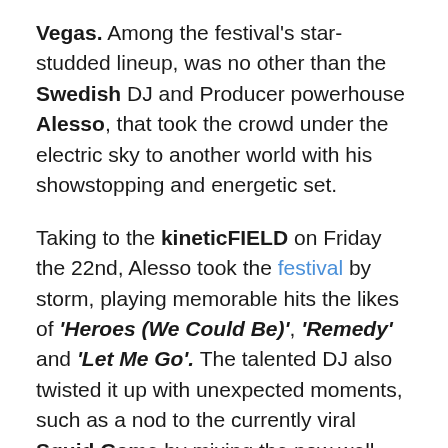Vegas. Among the festival's star-studded lineup, was no other than the Swedish DJ and Producer powerhouse Alesso, that took the crowd under the electric sky to another world with his showstopping and energetic set.
Taking to the kineticFIELD on Friday the 22nd, Alesso took the festival by storm, playing memorable hits the likes of 'Heroes (We Could Be)', 'Remedy' and 'Let Me Go'. The talented DJ also twisted it up with unexpected moments, such as a nod to the currently viral Squid Game by mixing the now well-known theme song from the show 'Pink Soldiers' with Restricted & Miljay's track